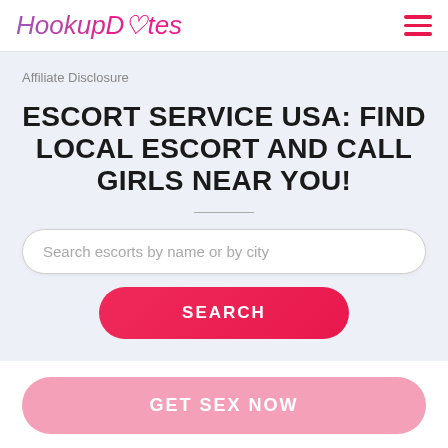HookupDates
Affiliate Disclosure
ESCORT SERVICE USA: FIND LOCAL ESCORT AND CALL GIRLS NEAR YOU!
Search escorts by name or by city
SEARCH
GET SEX NOW